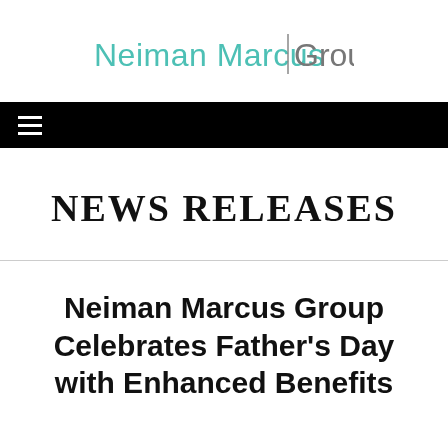[Figure (logo): Neiman Marcus Group logo with teal/turquoise text for 'Neiman Marcus' and gray text for 'Group', separated by a vertical bar]
≡
NEWS RELEASES
Neiman Marcus Group Celebrates Father's Day with Enhanced Benefits